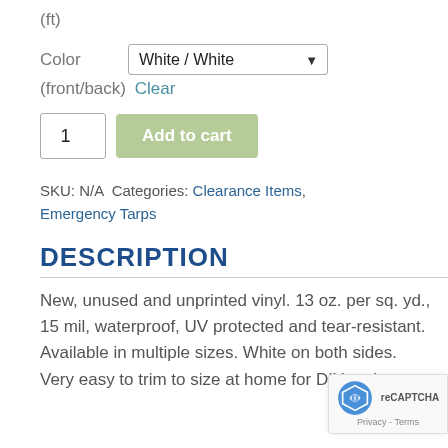(ft)
Color   White / White
(front/back) Clear
1   Add to cart
SKU: N/A  Categories: Clearance Items, Emergency Tarps
DESCRIPTION
New, unused and unprinted vinyl. 13 oz. per sq. yd., 15 mil, waterproof, UV protected and tear-resistant. Available in multiple sizes. White on both sides. Very easy to trim to size at home for DIY projects.